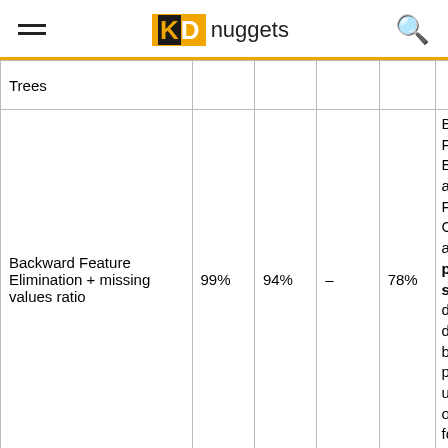KD nuggets
| Method | Col2 | Col3 | Col4 | Col5 | Notes |
| --- | --- | --- | --- | --- | --- |
| Trees |  |  |  |  |  |
| Backward Feature Elimination + missing values ratio | 99% | 94% | – | 78% | Backward Feature Elimination and Feature Combination are prone to overfitting and slow down the direction of data before being practiced using one fo... |
|  |  |  |  |  |  |